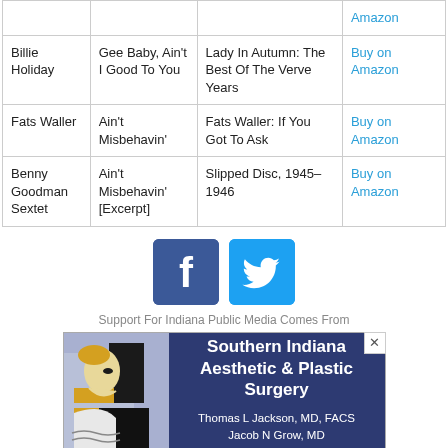| Artist | Song | Album | Buy |
| --- | --- | --- | --- |
| Billie Holiday | Gee Baby, Ain't I Good To You | Lady In Autumn: The Best Of The Verve Years | Buy on Amazon |
| Fats Waller | Ain't Misbehavin' | Fats Waller: If You Got To Ask | Buy on Amazon |
| Benny Goodman Sextet | Ain't Misbehavin' [Excerpt] | Slipped Disc, 1945–1946 | Buy on Amazon |
[Figure (logo): Facebook and Twitter social share buttons]
Support For Indiana Public Media Comes From
[Figure (infographic): Advertisement for Southern Indiana Aesthetic & Plastic Surgery featuring Thomas L Jackson, MD, FACS and Jacob N Grow, MD. Offering the Full Range of Cosmetic Procedures for...]